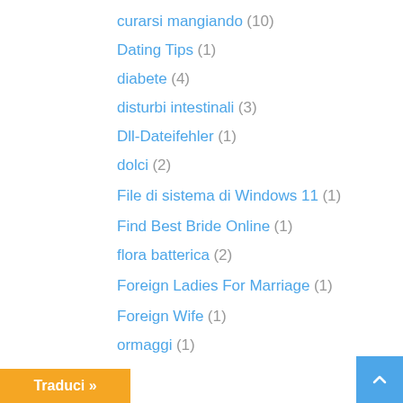curarsi mangiando (10)
Dating Tips (1)
diabete (4)
disturbi intestinali (3)
Dll-Dateifehler (1)
dolci (2)
File di sistema di Windows 11 (1)
Find Best Bride Online (1)
flora batterica (2)
Foreign Ladies For Marriage (1)
Foreign Wife (1)
ormaggi (1)